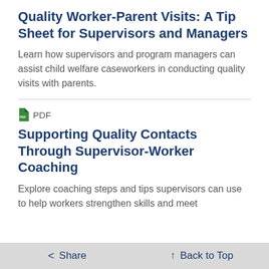Quality Worker-Parent Visits: A Tip Sheet for Supervisors and Managers
Learn how supervisors and program managers can assist child welfare caseworkers in conducting quality visits with parents.
PDF
Supporting Quality Contacts Through Supervisor-Worker Coaching
Explore coaching steps and tips supervisors can use to help workers strengthen skills and meet
< Share   ↑ Back to Top